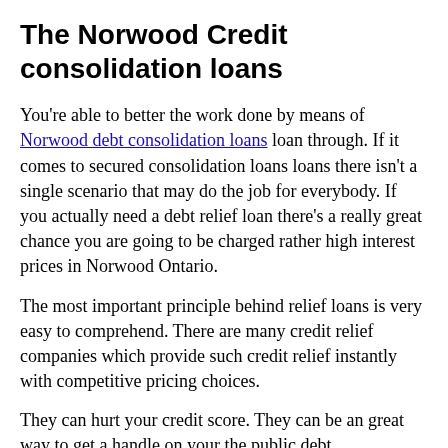The Norwood Credit consolidation loans
You're able to better the work done by means of Norwood debt consolidation loans loan through. If it comes to secured consolidation loans loans there isn't a single scenario that may do the job for everybody. If you actually need a debt relief loan there's a really great chance you are going to be charged rather high interest prices in Norwood Ontario.
The most important principle behind relief loans is very easy to comprehend. There are many credit relief companies which provide such credit relief instantly with competitive pricing choices.
They can hurt your credit score. They can be an great way to get a handle on your the public debt complications. They have become a prominent way to repay unsecured debts.
Now, you've got to produce an exhaustive collection of your credit card debts. Thus, even if your Norwood debt consolidation loans has been successfully done, you won't be in a position in Norwood Ontario to recover the entire sum of your credit cards. Refrain from taking cash advances loan until you've cleared all the preceding credit card debts.